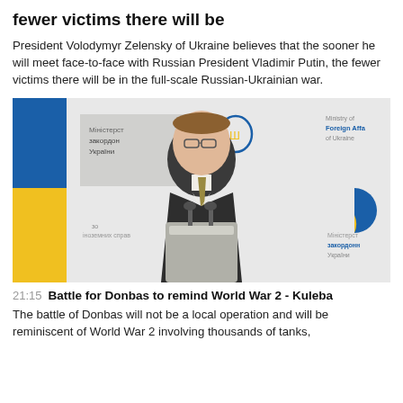fewer victims there will be
President Volodymyr Zelensky of Ukraine believes that the sooner he will meet face-to-face with Russian President Vladimir Putin, the fewer victims there will be in the full-scale Russian-Ukrainian war.
[Figure (photo): A man in a dark suit with a gold/olive tie stands at a podium with microphones. Behind him is a Ukrainian flag (blue and yellow) and a banner/backdrop with Ukrainian Ministry of Foreign Affairs branding in Ukrainian and English.]
21:15 Battle for Donbas to remind World War 2 - Kuleba
The battle of Donbas will not be a local operation and will be reminiscent of World War 2 involving thousands of tanks,